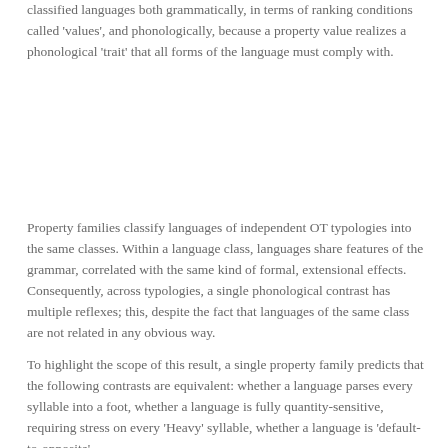classified languages both grammatically, in terms of ranking conditions called 'values', and phonologically, because a property value realizes a phonological 'trait' that all forms of the language must comply with.
Property families classify languages of independent OT typologies into the same classes. Within a language class, languages share features of the grammar, correlated with the same kind of formal, extensional effects. Consequently, across typologies, a single phonological contrast has multiple reflexes; this, despite the fact that languages of the same class are not related in any obvious way.
To highlight the scope of this result, a single property family predicts that the following contrasts are equivalent: whether a language parses every syllable into a foot, whether a language is fully quantity-sensitive, requiring stress on every 'Heavy' syllable, whether a language is 'default-to-opposite'